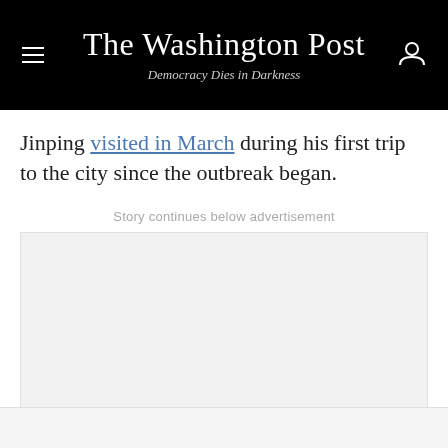The Washington Post — Democracy Dies in Darkness
Jinping visited in March during his first trip to the city since the outbreak began.
Story continues below advertisement
[Figure (other): Advertisement placeholder — light gray rectangle]